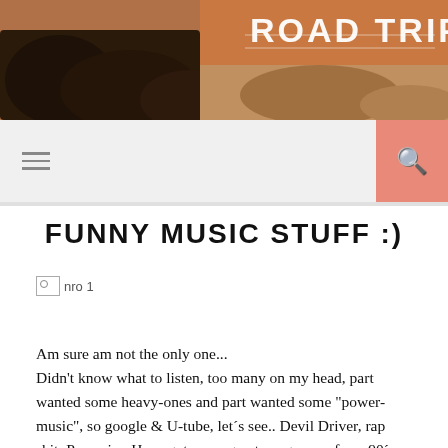[Figure (photo): Header banner image showing a road trip scene with rocks and landscape in warm brown/orange tones, with text 'ROAD TRIPS' in white bold letters]
Navigation bar with hamburger menu icon and search button
FUNNY MUSIC STUFF :)
[Figure (photo): Broken image placeholder labeled 'nro 1']
Am sure am not the only one...
Didn't know what to listen, too many on my head, part wanted some heavy-ones and part wanted some "power-music", so google & U-tube, let's see.. Devil Driver, rap shit, Pop-mix.. Have got some great songs, esp. from 90's so U-tube let's play 😃